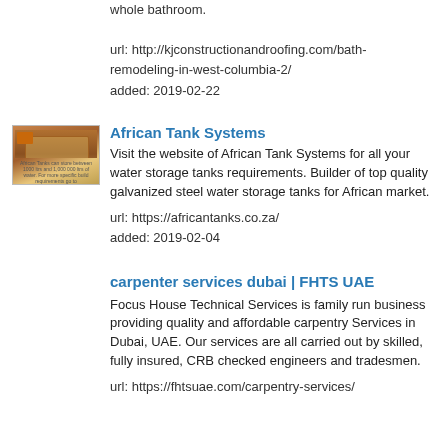whole bathroom.

url: http://kjconstructionandroofing.com/bath-remodeling-in-west-columbia-2/
added: 2019-02-22
[Figure (photo): Thumbnail image of a galvanized steel water storage tank from African Tank Systems]
African Tank Systems
Visit the website of African Tank Systems for all your water storage tanks requirements. Builder of top quality galvanized steel water storage tanks for African market.
url: https://africantanks.co.za/
added: 2019-02-04
carpenter services dubai | FHTS UAE
Focus House Technical Services is family run business providing quality and affordable carpentry Services in Dubai, UAE. Our services are all carried out by skilled, fully insured, CRB checked engineers and tradesmen.
url: https://fhtsuae.com/carpentry-services/